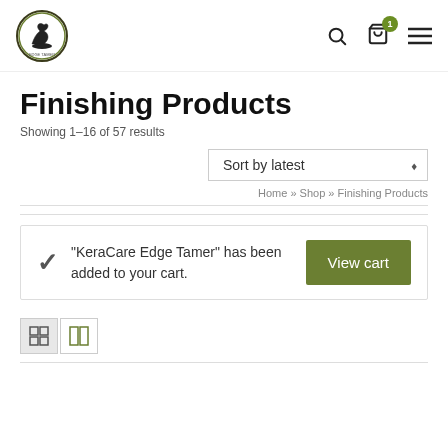[Figure (logo): Professional hair care products brand logo — circular badge with horse silhouette]
Finishing Products
Showing 1–16 of 57 results
Sort by latest
Home » Shop » Finishing Products
"KeraCare Edge Tamer" has been added to your cart.
View cart